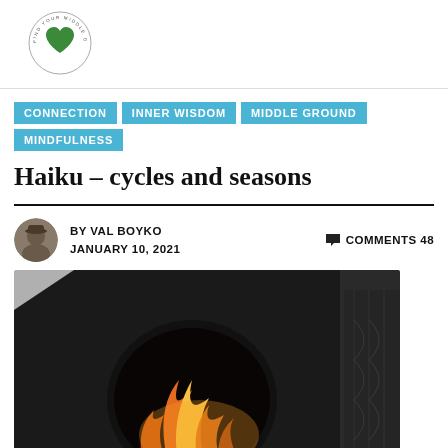[Figure (logo): Find Your Middle Ground circular logo with green heart]
CONNECTION
INNER WISDOM
MIDDLE GROUND
MINDFULNESS
Haiku – cycles and seasons
BY VAL BOYKO  JANUARY 10, 2021   COMMENTS 48
[Figure (photo): Close-up photo of a black wood-burning fireplace or stove with orange flames visible through a circular arched opening]